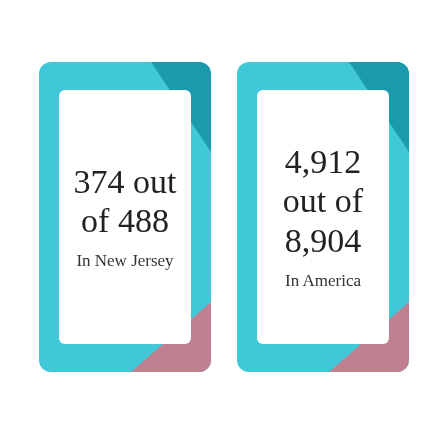[Figure (infographic): Two stat cards side by side on a white background. Left card (cyan with decorative teal and mauve triangles): '374 out of 488' in large text, 'In New Jersey' below. Right card (cyan with decorative teal and mauve triangles): '4,912 out of 8,904' in large text, 'In America' below.]